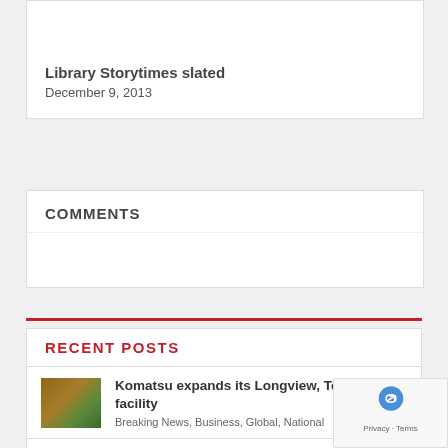Library Storytimes slated
December 9, 2013
COMMENTS
RECENT POSTS
Komatsu expands its Longview, Texas facility
Breaking News, Business, Global, National
Student Loan Pause, College Loan